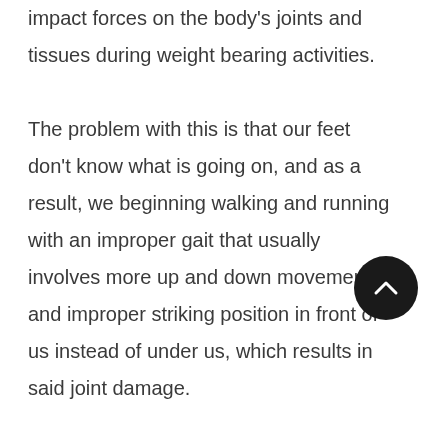impact forces on the body's joints and tissues during weight bearing activities. The problem with this is that our feet don't know what is going on, and as a result, we beginning walking and running with an improper gait that usually involves more up and down movement and improper striking position in front of us instead of under us, which results in said joint damage. Another problem with cushioned footwear is that so much of our energy is wasted and absorbed into the shoes and "balancing them, rather than into the ground where it can be fully applied. Think about running in sand.
[Figure (other): Dark circular scroll-to-top button with an upward chevron arrow icon]